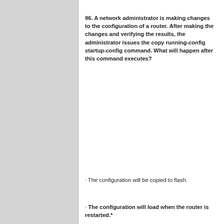96. A network administrator is making changes to the configuration of a router. After making the changes and verifying the results, the administrator issues the copy running-config startup-config command. What will happen after this command executes?
· The configuration will be copied to flash.
· The configuration will load when the router is restarted.*
· The new configuration file will replace the IOS file.